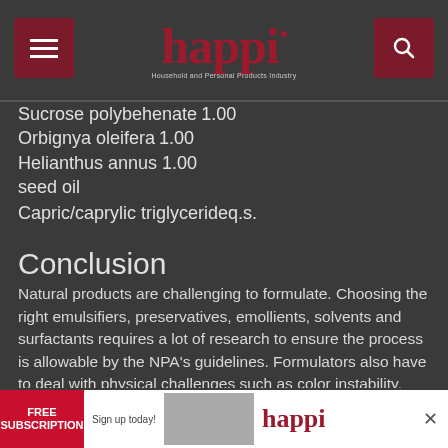happi — Household and Personal Products Industry
Sucrose polybehenate	1.00
Orbignya oleifera	1.00
Helianthus annus seed oil	1.00
Capric/caprylic triglycerideq.s.
Conclusion
Natural products are challenging to formulate. Choosing the right emulsifiers, preservatives, emollients, solvents and surfactants requires a lot of research to ensure the process is allowable by the NPA's guidelines. Formulators also have to deal with physical challenges such as color instability, formulation instability and preservation robustness. Commercially we have to ensure that the product is affordable and that the ingredients are from a renewable resources and plentiful. We are also challenged